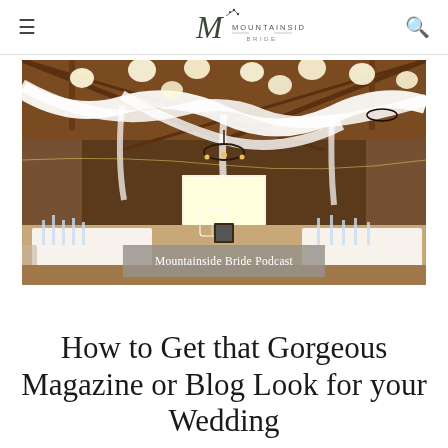Mountainside Bride
[Figure (photo): Interior of a decorated barn wedding venue with white draped fabric on ceiling, round paper lanterns, fairy lights, crystal glassware on tables, chandelier, and warm wood tones]
Mountainside Bride Podcast
How to Get that Gorgeous Magazine or Blog Look for your Wedding